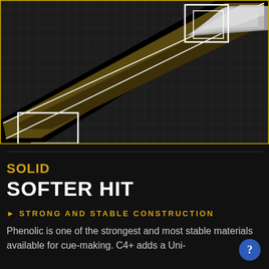[Figure (illustration): Close-up technical illustration of a billiard/pool cue on a dark grid background. The cue is shown diagonally, with olive/brown shaft sections, white outline highlights, and gray tip components. A yellow border frames the image. The cue cross-section and tip joint details are highlighted with white rectangular overlays.]
SOLID
SOFTER HIT
STRONG AND STABLE CONSTRUCTION
Phenolic is one of the strongest and most stable materials available for cue-making. C4+ adds a Uni-